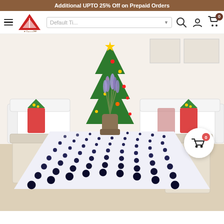Additional UPTO 25% Off on Prepaid Orders
[Figure (screenshot): E-commerce website header with hamburger menu, Airwill logo (red triangle with 'A'), dropdown selector, search icon, user icon, and cart icon with 0 badge]
[Figure (photo): Product photo of a dining table covered with a navy blue and white polka dot tablecloth, set in a bright living room with a Christmas tree, white sofa, and Christmas-themed cushions. A vase with lavender flowers sits on the table. Two chairs with beige slip covers are visible.]